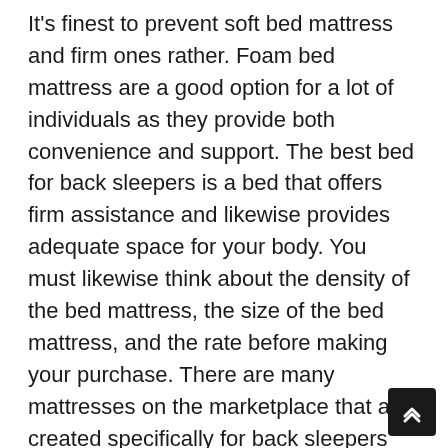It's finest to prevent soft bed mattress and firm ones rather. Foam bed mattress are a good option for a lot of individuals as they provide both convenience and support. The best bed for back sleepers is a bed that offers firm assistance and likewise provides adequate space for your body. You must likewise think about the density of the bed mattress, the size of the bed mattress, and the rate before making your purchase. There are many mattresses on the marketplace that are created specifically for back sleepers These bed mattress have a firmer feel, which is what most people choose when they sleep on their backs.
Side sleepers.
Sleeping on your side puts a great deal of pressure on your shoulders and hips so you should search for a bed that permits you the convenience and